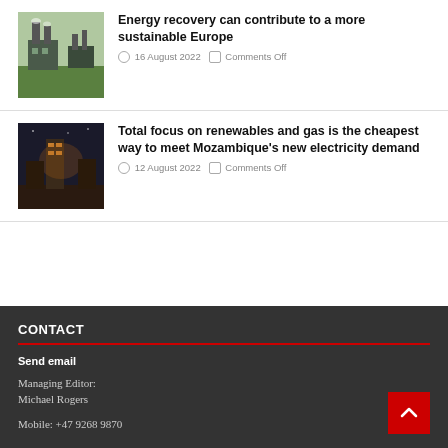[Figure (photo): Industrial plant or factory with smoke stacks, green surroundings, daytime]
Energy recovery can contribute to a more sustainable Europe
16 August 2022  Comments Off
[Figure (photo): Industrial building at night with orange/warm tones]
Total focus on renewables and gas is the cheapest way to meet Mozambique's new electricity demand
12 August 2022  Comments Off
CONTACT
Send email
Managing Editor:
Michael Rogers
Mobile: +47 9268 9870